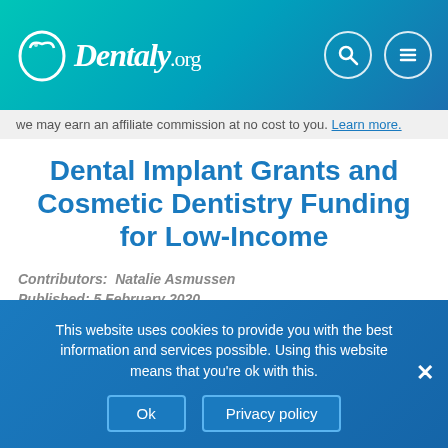Dentaly.org
we may earn an affiliate commission at no cost to you. Learn more.
Dental Implant Grants and Cosmetic Dentistry Funding for Low-Income
Contributors: Natalie Asmussen
Published: 5 February 2020
Updated: 19 July 2022
[Figure (photo): Gray gradient placeholder image for dental implant article]
This website uses cookies to provide you with the best information and services possible. Using this website means that you're ok with this.